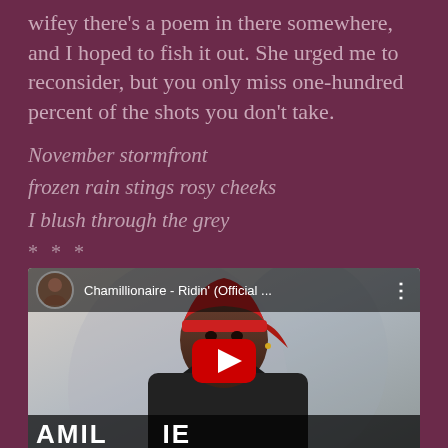wifey there's a poem in there somewhere, and I hoped to fish it out. She urged me to reconsider, but you only miss one-hundred percent of the shots you don't take.
November stormfront
frozen rain stings rosy cheeks
I blush through the grey
***
[Figure (screenshot): YouTube video thumbnail for Chamillionaire - Ridin' (Official ...) showing a man wearing a red durag and jacket, with YouTube play button overlay and channel avatar]